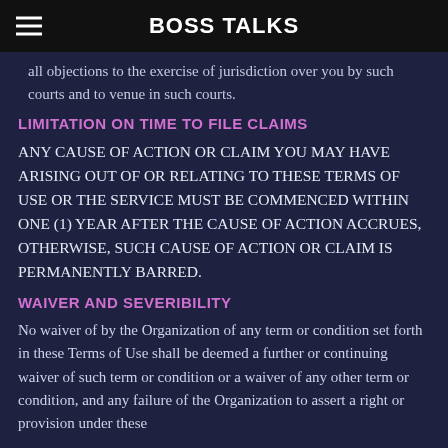BOSS TALKS
all objections to the exercise of jurisdiction over you by such courts and to venue in such courts.
LIMITATION ON TIME TO FILE CLAIMS
ANY CAUSE OF ACTION OR CLAIM YOU MAY HAVE ARISING OUT OF OR RELATING TO THESE TERMS OF USE OR THE SERVICE MUST BE COMMENCED WITHIN ONE (1) YEAR AFTER THE CAUSE OF ACTION ACCRUES, OTHERWISE, SUCH CAUSE OF ACTION OR CLAIM IS PERMANENTLY BARRED.
WAIVER AND SEVERIBILITY
No waiver of by the Organization of any term or condition set forth in these Terms of Use shall be deemed a further or continuing waiver of such term or condition or a waiver of any other term or condition, and any failure of the Organization to assert a right or provision under these